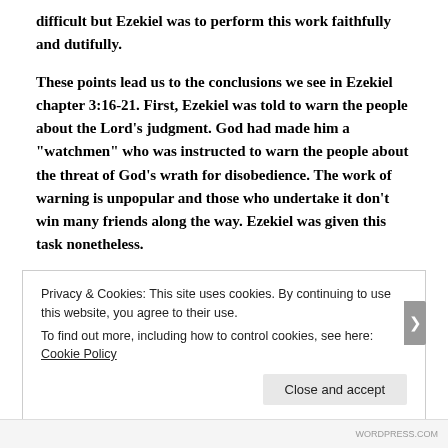difficult but Ezekiel was to perform this work faithfully and dutifully.
These points lead us to the conclusions we see in Ezekiel chapter 3:16-21. First, Ezekiel was told to warn the people about the Lord’s judgment. God had made him a “watchmen” who was instructed to warn the people about the threat of God’s wrath for disobedience. The work of warning is unpopular and those who undertake it don’t win many friends along the way. Ezekiel was given this task nonetheless.
Privacy & Cookies: This site uses cookies. By continuing to use this website, you agree to their use. To find out more, including how to control cookies, see here: Cookie Policy